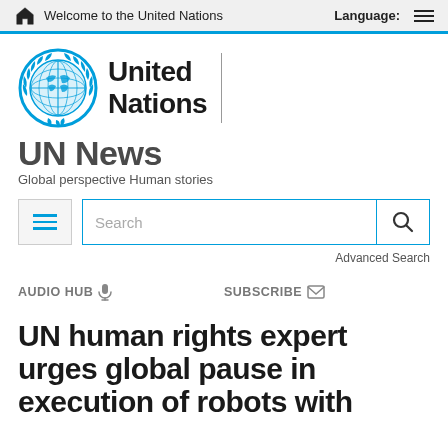Welcome to the United Nations   Language:
[Figure (logo): United Nations globe logo with blue laurel wreath and world map, followed by 'United Nations' text in bold black]
UN News
Global perspective Human stories
Search  Advanced Search
AUDIO HUB  SUBSCRIBE
UN human rights expert urges global pause in